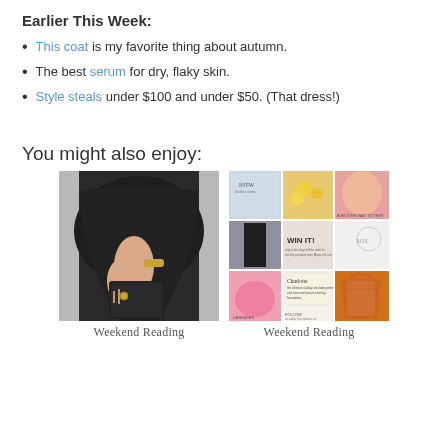Earlier This Week:
This coat is my favorite thing about autumn.
The best serum for dry, flaky skin.
Style steals under $100 and under $50. (That dress!)
You might also enjoy:
[Figure (photo): Woman in black outfit holding a dark clutch, showing wrist with gold watch and rings]
Weekend Reading
[Figure (photo): Collage of fashion and beauty images including NYFW coverage, lipstick shades, WIN IT giveaway, Charlotte product, and orange handbag]
Weekend Reading